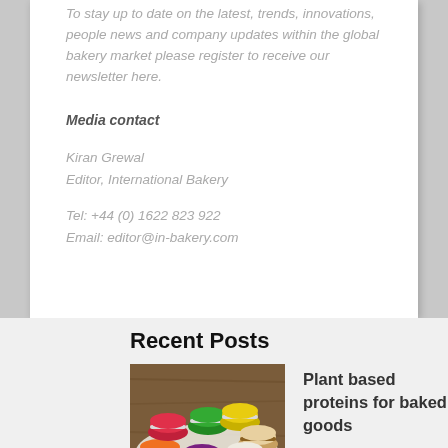To stay up to date on the latest, trends, innovations, people news and company updates within the global bakery market please register to receive our newsletter here.
Media contact
Kiran Grewal
Editor, International Bakery
Tel: +44 (0) 1622 823 922
Email: editor@in-bakery.com
Recent Posts
[Figure (photo): Colorful macarons arranged on a wooden surface]
Plant based proteins for baked goods